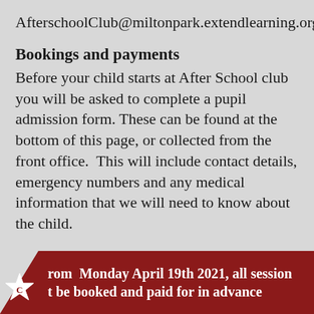AfterschoolClub@miltonpark.extendlearning.org
Bookings and payments
Before your child starts at After School club you will be asked to complete a pupil admission form. These can be found at the bottom of this page, or collected from the front office.  This will include contact details, emergency numbers and any medical information that we will need to know about the child.
From  Monday April 19th 2021, all session must be booked and paid for in advance